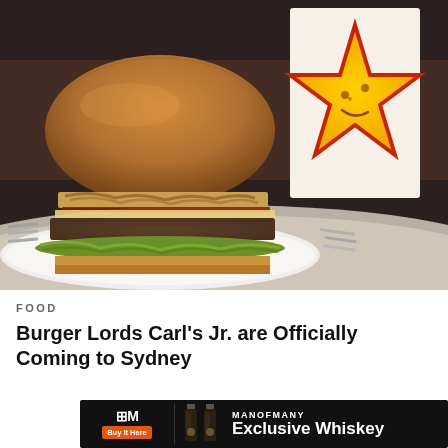[Figure (photo): A gourmet burger with sesame bun, lettuce, cheese, beef patty, crispy onion strings, and BBQ sauce on a white plate, with a Carl's Jr. smiling star logo card in the background, silverware visible on both sides]
FOOD
Burger Lords Carl's Jr. are Officially Coming to Sydney
[Figure (advertisement): Man of Many Exclusive Whiskey advertisement banner with logo, whiskey bottles, brand name MANOFMANY, and 'Buy It Here' orange button]